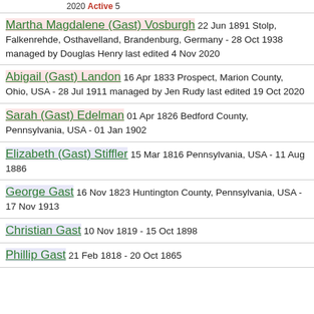2020 Active 5
Martha Magdalene (Gast) Vosburgh 22 Jun 1891 Stolp, Falkenrehde, Osthavelland, Brandenburg, Germany - 28 Oct 1938 managed by Douglas Henry last edited 4 Nov 2020
Abigail (Gast) Landon 16 Apr 1833 Prospect, Marion County, Ohio, USA - 28 Jul 1911 managed by Jen Rudy last edited 19 Oct 2020
Sarah (Gast) Edelman 01 Apr 1826 Bedford County, Pennsylvania, USA - 01 Jan 1902
Elizabeth (Gast) Stiffler 15 Mar 1816 Pennsylvania, USA - 11 Aug 1886
George Gast 16 Nov 1823 Huntington County, Pennsylvania, USA - 17 Nov 1913
Christian Gast 10 Nov 1819 - 15 Oct 1898
Phillip Gast 21 Feb 1818 - 20 Oct 1865